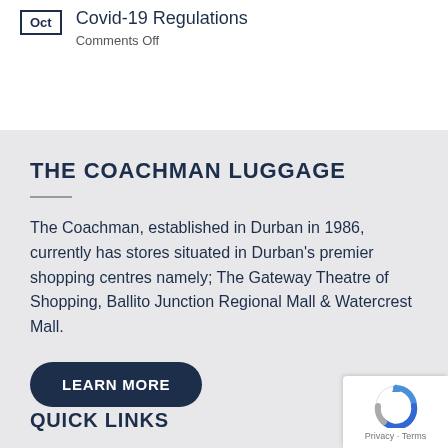Covid-19 Regulations
Comments Off
THE COACHMAN LUGGAGE
The Coachman, established in Durban in 1986, currently has stores situated in Durban's premier shopping centres namely; The Gateway Theatre of Shopping, Ballito Junction Regional Mall & Watercrest Mall.
LEARN MORE
QUICK LINKS